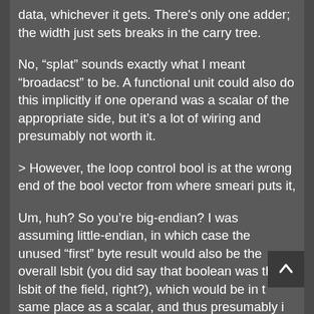data, whichever it gets. There's only one adder; the width just sets breaks in the carry tree.
No, "splat" sounds exactly what I meant "broadacst" to be. A functional unit could also do this implicitly if one operand was a scalar of the appropriate side, but it's a lot of wiring and presumably not worth it.
> However, the loop control bool is at the wrong end of the bool vector from where smeari puts it,
Um, huh? So you're big-endian? I was assuming little-endian, in which case the unused “first” byte result would also be the overall lsbit (you did say that boolean was the lsbit of the field, right?), which would be in the same place as a scalar, and thus presumably in the right place to branch on directly, with no